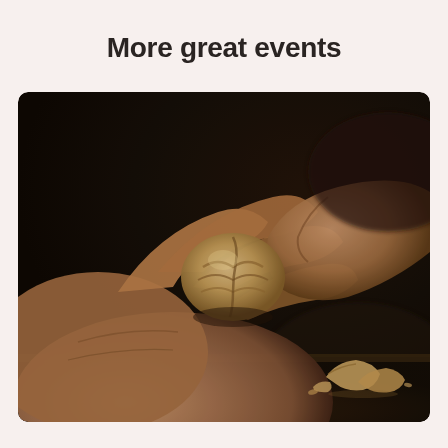More great events
[Figure (photo): Close-up photograph of a person's hands holding and cracking open a walnut, with shell fragments on a dark wooden surface. Dark, moody background with warm sepia tones.]